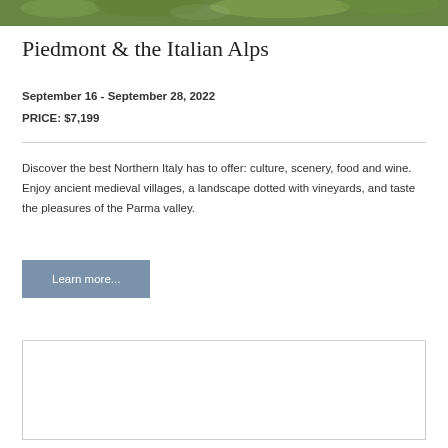[Figure (photo): Partial view of a green alpine/mountain landscape with foliage, cropped at the top of the page]
Piedmont & the Italian Alps
September 16 - September 28, 2022
PRICE: $7,199
Discover the best Northern Italy has to offer: culture, scenery, food and wine. Enjoy ancient medieval villages, a landscape dotted with vineyards, and taste the pleasures of the Parma valley.
[Figure (other): A blue-grey 'Learn more...' button]
[Figure (other): Empty white card/box with grey border at bottom of page]